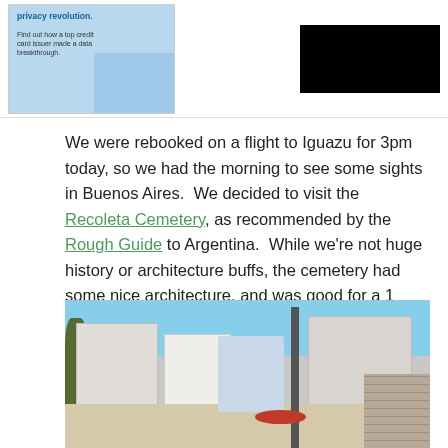[Figure (photo): Top banner area with an advertisement image (light blue card/privacy themed ad) on the left and a black redacted/blocked rectangle on the right]
We were rebooked on a flight to Iguazu for 3pm today, so we had the morning to see some sights in Buenos Aires.  We decided to visit the Recoleta Cemetery, as recommended by the Rough Guide to Argentina.  While we're not huge history or architecture buffs, the cemetery had some nice architecture, and was good for a 1 hour visit.
[Figure (photo): Photo of a man standing in Recoleta Cemetery, Buenos Aires. White mausoleum buildings visible in the background, trees on the left side, a pole near the man, brick wall on the right edge, and a red object (hat) at the bottom right. Blue sky visible at top.]